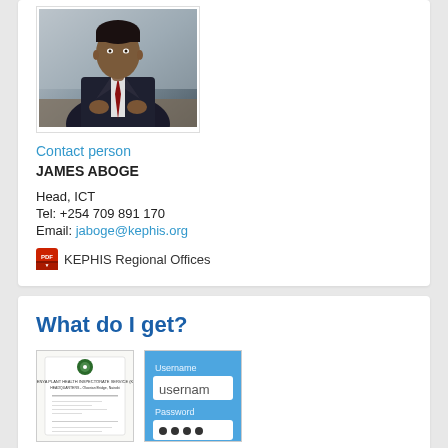[Figure (photo): Professional headshot of a man in a dark suit with a red tie, seated at a desk]
Contact person
JAMES ABOGE
Head, ICT
Tel: +254 709 891 170
Email: jaboge@kephis.org
KEPHIS Regional Offices
What do I get?
[Figure (photo): Thumbnail of a KEPHIS document/certificate]
[Figure (screenshot): Thumbnail showing a login form with Username and Password fields]